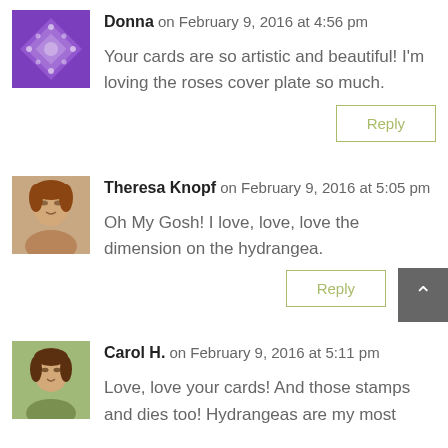Donna on February 9, 2016 at 4:56 pm
Your cards are so artistic and beautiful! I'm loving the roses cover plate so much.
Reply
Theresa Knopf on February 9, 2016 at 5:05 pm
Oh My Gosh! I love, love, love the dimension on the hydrangea.
Reply
Carol H. on February 9, 2016 at 5:11 pm
Love, love your cards! And those stamps and dies too! Hydrangeas are my most